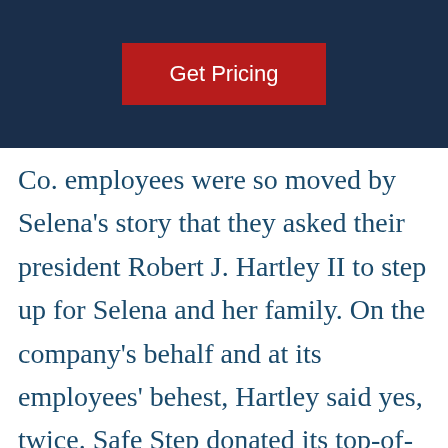[Figure (other): Dark navy blue header bar with a red 'Get Pricing' button centered within it]
Co. employees were so moved by Selena's story that they asked their president Robert J. Hartley II to step up for Selena and her family. On the company's behalf and at its employees' behest, Hartley said yes, twice. Safe Step donated its top-of-the-line walk-in tub as well as a walk-in shower to the Yorkes as part of the